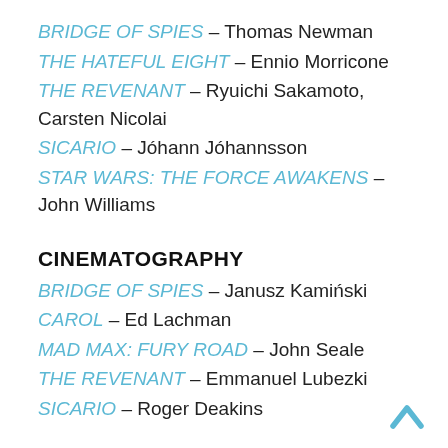BRIDGE OF SPIES – Thomas Newman
THE HATEFUL EIGHT – Ennio Morricone
THE REVENANT – Ryuichi Sakamoto, Carsten Nicolai
SICARIO – Jóhann Jóhannsson
STAR WARS: THE FORCE AWAKENS – John Williams
CINEMATOGRAPHY
BRIDGE OF SPIES – Janusz Kamiński
CAROL – Ed Lachman
MAD MAX: FURY ROAD – John Seale
THE REVENANT – Emmanuel Lubezki
SICARIO – Roger Deakins